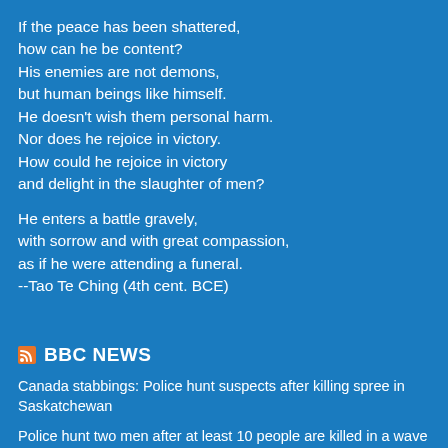If the peace has been shattered,
how can he be content?
His enemies are not demons,
but human beings like himself.
He doesn't wish them personal harm.
Nor does he rejoice in victory.
How could he rejoice in victory
and delight in the slaughter of men?

He enters a battle gravely,
with sorrow and with great compassion,
as if he were attending a funeral.
--Tao Te Ching (4th cent. BCE)
[Figure (logo): RSS feed orange icon followed by BBC NEWS bold white text]
BBC NEWS
Canada stabbings: Police hunt suspects after killing spree in Saskatchewan
Police hunt two men after at least 10 people are killed in a wave of attacks that have shocked Canada.
Chile constitution: Voters overwhelmingly reject radical change